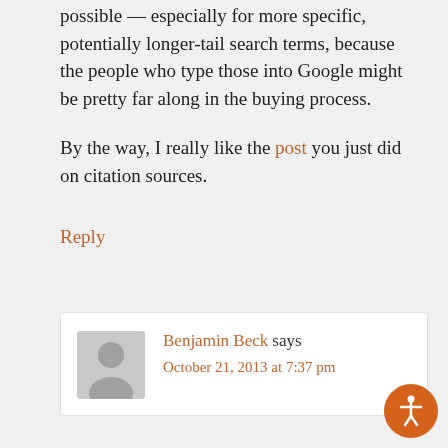possible — especially for more specific, potentially longer-tail search terms, because the people who type those into Google might be pretty far along in the buying process.
By the way, I really like the post you just did on citation sources.
Reply
Benjamin Beck says October 21, 2013 at 7:37 pm